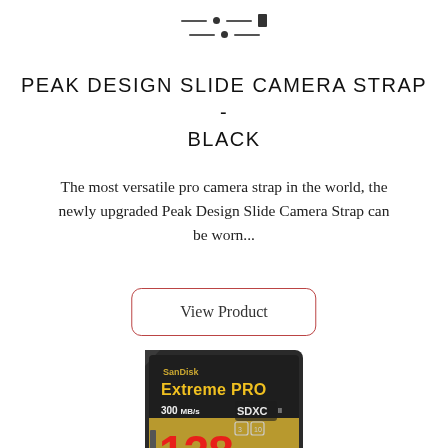[Figure (illustration): Navigation/menu icon with two rows: each row has a short horizontal line, a circle dot, another short line, and a rectangular element on the right]
PEAK DESIGN SLIDE CAMERA STRAP - BLACK
The most versatile pro camera strap in the world, the newly upgraded Peak Design Slide Camera Strap can be worn...
View Product
[Figure (photo): SanDisk Extreme PRO 128GB SD card, black with gold and red text, showing 300 MB/s, SDXC UHS-II U3 specifications, and SanDisk branding on a red label at the bottom]